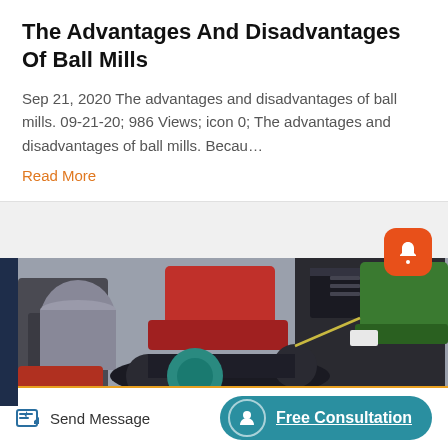The Advantages And Disadvantages Of Ball Mills
Sep 21, 2020 The advantages and disadvantages of ball mills. 09-21-20; 986 Views; icon 0; The advantages and disadvantages of ball mills. Becau…
Read More
[Figure (photo): Industrial machinery — ball mills or shredding equipment on a factory floor, showing metal components, conveyor belt, and green/red/black machine parts]
Send Message
Free Consultation